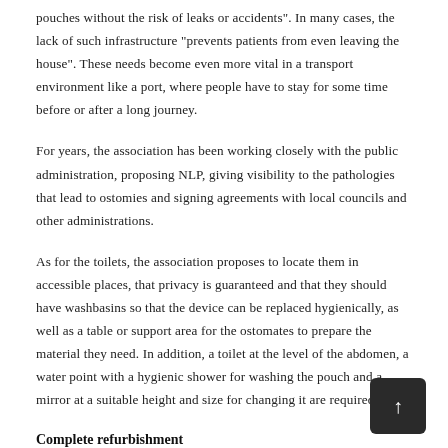pouches without the risk of leaks or accidents". In many cases, the lack of such infrastructure “prevents patients from even leaving the house". These needs become even more vital in a transport environment like a port, where people have to stay for some time before or after a long journey.
For years, the association has been working closely with the public administration, proposing NLP, giving visibility to the pathologies that lead to ostomies and signing agreements with local councils and other administrations.
As for the toilets, the association proposes to locate them in accessible places, that privacy is guaranteed and that they should have washbasins so that the device can be replaced hygienically, as well as a table or support area for the ostomates to prepare the material they need. In addition, a toilet at the level of the abdomen, a water point with a hygienic shower for washing the pouch and a mirror at a suitable height and size for changing it are required.
Complete refurbishment